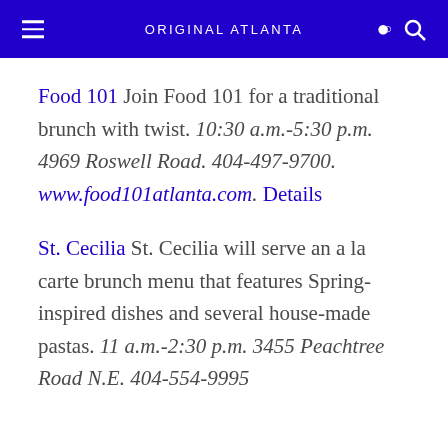ORIGINAL ATLANTA
Food 101 Join Food 101 for a traditional brunch with twist. 10:30 a.m.-5:30 p.m. 4969 Roswell Road. 404-497-9700. www.food101atlanta.com. Details
St. Cecilia St. Cecilia will serve an a la carte brunch menu that features Spring-inspired dishes and several house-made pastas. 11 a.m.-2:30 p.m. 3455 Peachtree Road N.E. 404-554-9995